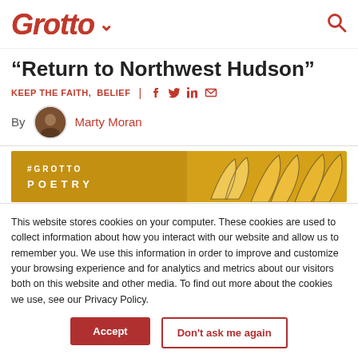Grotto
“Return to Northwest Hudson”
KEEP THE FAITH,  BELIEF
By Marty Moran
[Figure (illustration): Yellow banner with #GROTTO POETRY text and decorative leaf shapes]
This website stores cookies on your computer. These cookies are used to collect information about how you interact with our website and allow us to remember you. We use this information in order to improve and customize your browsing experience and for analytics and metrics about our visitors both on this website and other media. To find out more about the cookies we use, see our Privacy Policy.
Accept
Don’t ask me again